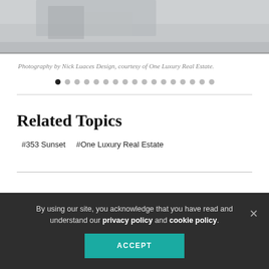[Figure (photo): Partial view of a luxury interior/exterior space with modern furniture, light tones]
Photography by Nick Luaces Design, courtesy of One Luxury Real Estate.
[Figure (other): Carousel navigation dots, 17 total, first dot active/filled black]
Related Topics
#353 Sunset
#One Luxury Real Estate
By using our site, you acknowledge that you have read and understand our privacy policy and cookie policy.
ACCEPT